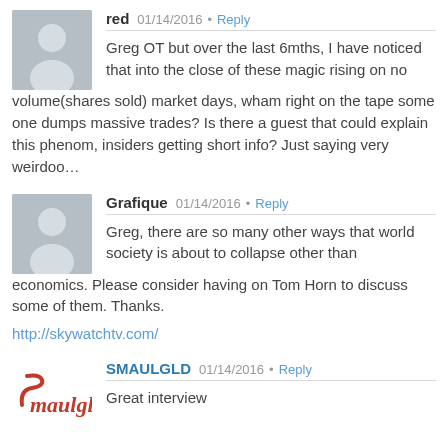red — 01/14/2016 • Reply
Greg OT but over the last 6mths, I have noticed that into the close of these magic rising on no volume(shares sold) market days, wham right on the tape some one dumps massive trades? Is there a guest that could explain this phenom, insiders getting short info? Just saying very weirdoo…
Grafique — 01/14/2016 • Reply
Greg, there are so many other ways that world society is about to collapse other than economics. Please consider having on Tom Horn to discuss some of them. Thanks.
http://skywatchtv.com/
SMAULGLD — 01/14/2016 • Reply
Great interview